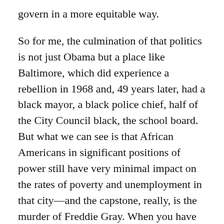govern in a more equitable way.
So for me, the culmination of that politics is not just Obama but a place like Baltimore, which did experience a rebellion in 1968 and, 49 years later, had a black mayor, a black police chief, half of the City Council black, the school board. But what we can see is that African Americans in significant positions of power still have very minimal impact on the rates of poverty and unemployment in that city—and the capstone, really, is the murder of Freddie Gray. When you have the black mayor and black police chief call upon a black woman who is head of a battalion of the